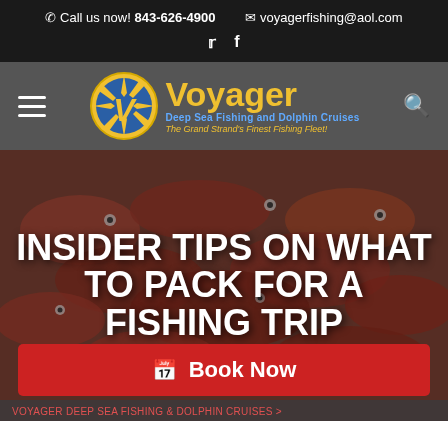Call us now! 843-626-4900   voyagerfishing@aol.com
[Figure (logo): Voyager Deep Sea Fishing and Dolphin Cruises logo with yellow compass circle, blue V, yellow 'Voyager' text, blue 'Deep Sea Fishing and Dolphin Cruises', yellow italic tagline 'The Grand Strand's Finest Fishing Fleet!']
INSIDER TIPS ON WHAT TO PACK FOR A FISHING TRIP
Book Now
VOYAGER DEEP SEA FISHING & DOLPHIN CRUISES >